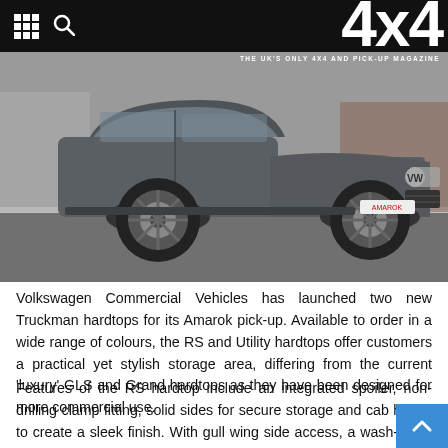4x4 – THE UK'S ONLY 4X4 AND PICK-UP MAGAZINE
[Figure (photo): A grey Volkswagen Amarok pickup truck parked on a driveway/road, photographed from a front three-quarter angle.]
Volkswagen Commercial Vehicles has launched two new Truckman hardtops for its Amarok pick-up. Available to order in a wide range of colours, the RS and Utility hardtops offer customers a practical yet stylish storage area, differing from the current 'luxury' GLS and Grand hardtops as they have been designed for more commercial use.
Features of the RS hardtop include an integrated spoiler, non-drilling clamp fitting, solid sides for secure storage and cab height to create a sleek finish. With gull wing side access, a wash-clean interior and significant roof strength which allows additional storage, the utility hardtop also has a large capacity with plenty of space for racking and